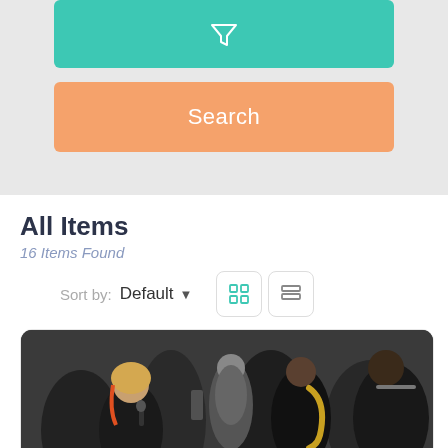[Figure (screenshot): Teal button with funnel/filter icon]
[Figure (screenshot): Orange Search button]
All Items
16 Items Found
Sort by: Default
[Figure (photo): Black and white photo of a band performing at an event with a female singer with blonde hair holding a microphone and band members playing saxophone and trombone in the background]